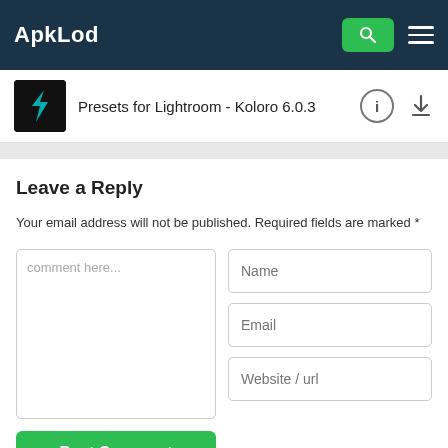ApkLod
Presets for Lightroom - Koloro 6.0.3
Leave a Reply
Your email address will not be published. Required fields are marked *
comment here...
Name
Email
Website / url
Post Comment